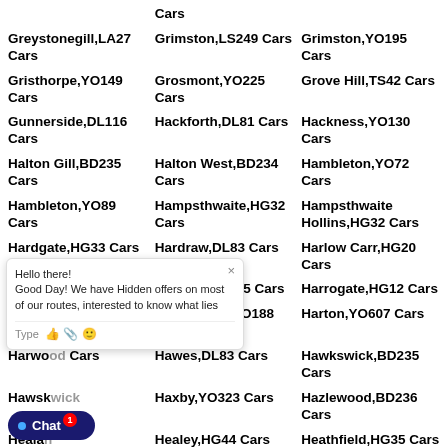Cars
Greystonegill,LA27 Cars
Grimston,LS249 Cars
Grimston,YO195 Cars
Gristhorpe,YO149 Cars
Grosmont,YO225 Cars
Grove Hill,TS42 Cars
Gunnerside,DL116 Cars
Hackforth,DL81 Cars
Hackness,YO130 Cars
Halton Gill,BD235 Cars
Halton West,BD234 Cars
Hambleton,YO72 Cars
Hambleton,YO89 Cars
Hampsthwaite,HG32 Cars
Hampsthwaite Hollins,HG32 Cars
Hardgate,HG33 Cars
Hardraw,DL83 Cars
Harlow Carr,HG20 Cars
Harmby,DL85 Cars
Harome,YO625 Cars
Harrogate,HG12 Cars
Hartlip Cars
Hartoft End,YO188 Cars
Harton,YO607 Cars
Harwood Cars
Hawes,DL83 Cars
Hawkswick,BD235 Cars
Hawsk Cars
Haxby,YO323 Cars
Hazlewood,BD236 Cars
Healan Cars
Healey,HG44 Cars
Heathfield,HG35 Cars
Hellifield BD235 Cars
Hellifield,BD234 Cars
Hellifield Green,BD234 Cars
Helmsley,YO625 Cars
Helperby,YO612 Cars
Helperthorne,YO178 Cars